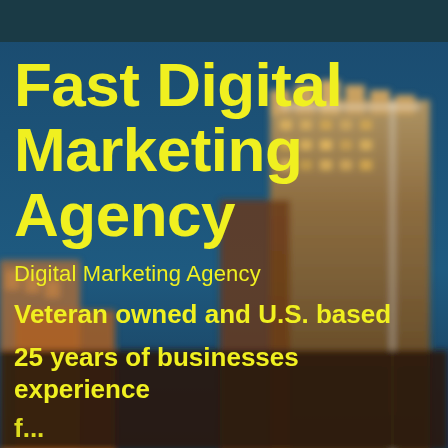[Figure (photo): City skyline with tall skyscrapers at dusk/night, blue sky background, buildings lit up. Dark teal bar at top.]
Fast Digital Marketing Agency
Digital Marketing Agency
Veteran owned and U.S. based
25 years of businesses experience
f...